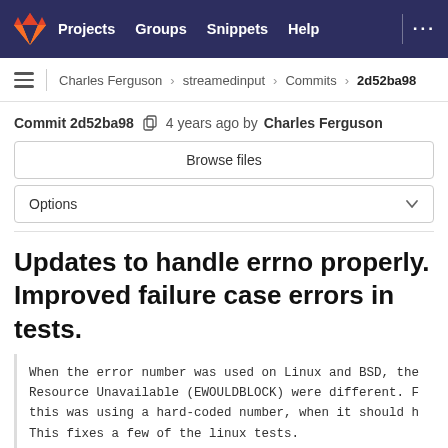GitLab navigation bar with logo, Projects, Groups, Snippets, Help links
Charles Ferguson > streamedinput > Commits > 2d52ba98
Commit 2d52ba98  4 years ago by Charles Ferguson
Browse files
Options
Updates to handle errno properly. Improved failure case errors in tests.
When the error number was used on Linux and BSD, the Resource Unavailable (EWOULDBLOCK) were different. F this was using a hard-coded number, when it should h This fixes a few of the linux tests.